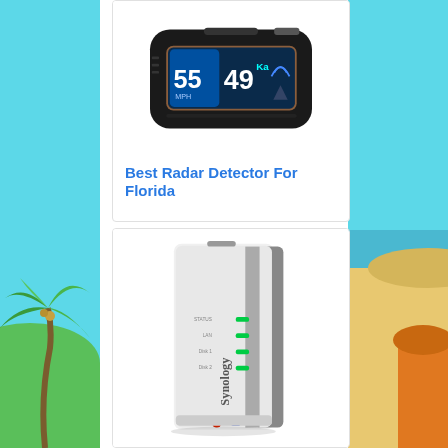[Figure (photo): Radar detector device showing speed 55 MPH, 49 Ka band alert on display screen]
Best Radar Detector For Florida
[Figure (photo): Synology NAS network attached storage device, white box with green LED indicators and Synology branding]